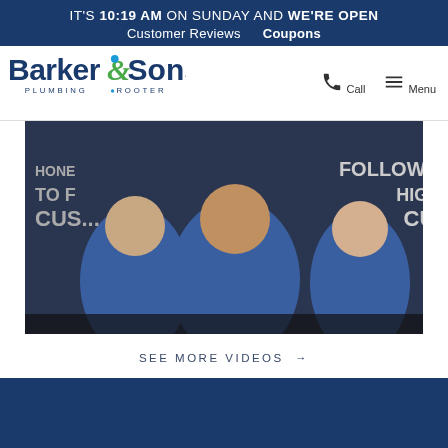IT'S 10:19 AM ON SUNDAY AND WE'RE OPEN  Customer Reviews  Coupons
[Figure (logo): Barker & Sons Plumbing & Rooter logo with stylized ampersand and water drop]
[Figure (photo): Group of Barker & Sons plumbing technicians in blue uniforms celebrating, with company values written on wall behind them]
SEE MORE VIDEOS →